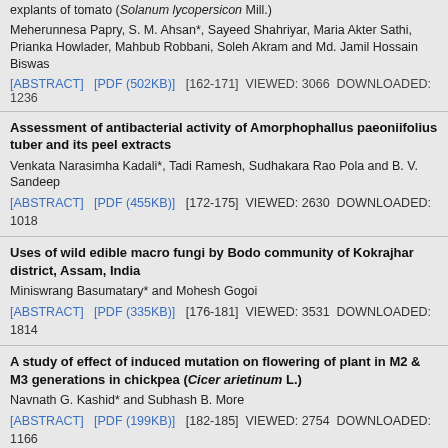explants of tomato (Solanum lycopersicon Mill.)
Meherunnesa Papry, S. M. Ahsan*, Sayeed Shahriyar, Maria Akter Sathi, Prianka Howlader, Mahbub Robbani, Soleh Akram and Md. Jamil Hossain Biswas
[ABSTRACT]   [PDF (502KB)]   [162-171]  VIEWED: 3066  DOWNLOADED: 1236
Assessment of antibacterial activity of Amorphophallus paeoniifolius tuber and its peel extracts
Venkata Narasimha Kadali*, Tadi Ramesh, Sudhakara Rao Pola and B. V. Sandeep
[ABSTRACT]   [PDF (455KB)]   [172-175]  VIEWED: 2630  DOWNLOADED: 1018
Uses of wild edible macro fungi by Bodo community of Kokrajhar district, Assam, India
Miniswrang Basumatary* and Mohesh Gogoi
[ABSTRACT]   [PDF (335KB)]   [176-181]  VIEWED: 3531  DOWNLOADED: 1814
A study of effect of induced mutation on flowering of plant in M2 & M3 generations in chickpea (Cicer arietinum L.)
Navnath G. Kashid* and Subhash B. More
[ABSTRACT]   [PDF (199KB)]   [182-185]  VIEWED: 2754  DOWNLOADED: 1166
An update on biological activities of medicinal plant Ipomoea quamoclit L.
Dipak Paul and Sankar Narayan Sinha*